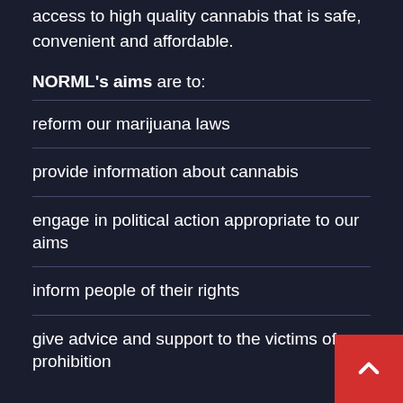access to high quality cannabis that is safe, convenient and affordable.
NORML's aims are to:
reform our marijuana laws
provide information about cannabis
engage in political action appropriate to our aims
inform people of their rights
give advice and support to the victims of prohibition
NORML New Zealand (Inc) is a non-profit membership-based incorporated society that was formed in New Zealand in 1979 (Incorporated 1980).